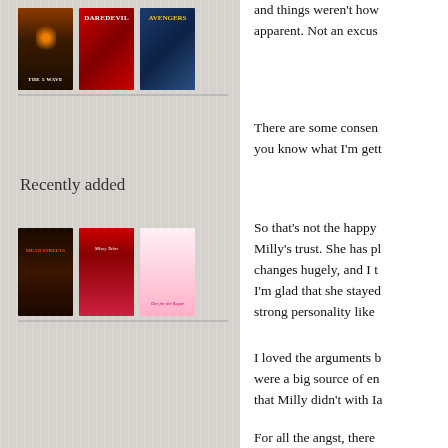[Figure (illustration): Three book covers on a shelf: The 5th Wave, Daredevil, and Avengers]
Recently added
[Figure (illustration): Three book covers on a shelf: Mean Streets, Missy Tales, One for the Rogue]
and things weren't how apparent. Not an excus
There are some consen you know what I'm gett
So that's not the happy Milly's trust. She has pl changes hugely, and I t I'm glad that she stayed strong personality like
I loved the arguments b were a big source of en that Milly didn't with Ia
For all the angst, there